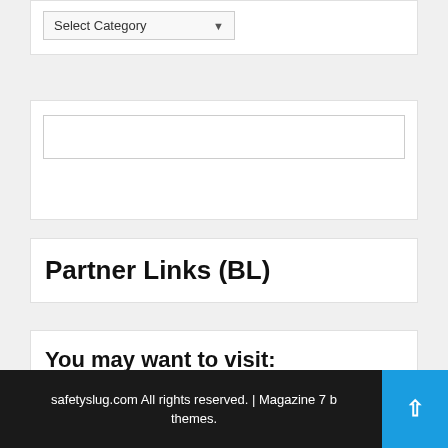[Figure (screenshot): Dropdown widget with 'Select Category' label and down arrow]
[Figure (screenshot): Empty white input/search box]
Partner Links (BL)
You may want to visit:
Your pet care news
safetyslug.com All rights reserved. | Magazine 7 b themes.